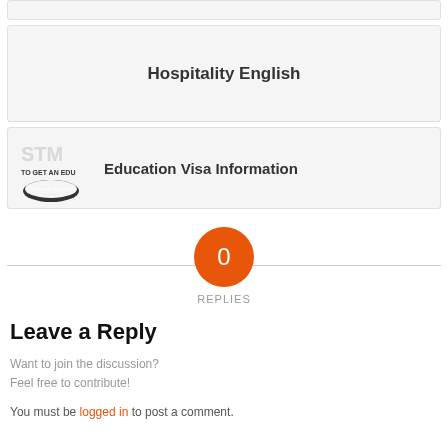Hospitality English
[Figure (logo): STM Education Visa logo with circular emblem and text 'TO GET AN EDU']
Education Visa Information
[Figure (infographic): Orange circle with '0' and 'REPLIES' label below]
Leave a Reply
Want to join the discussion?
Feel free to contribute!
You must be logged in to post a comment.